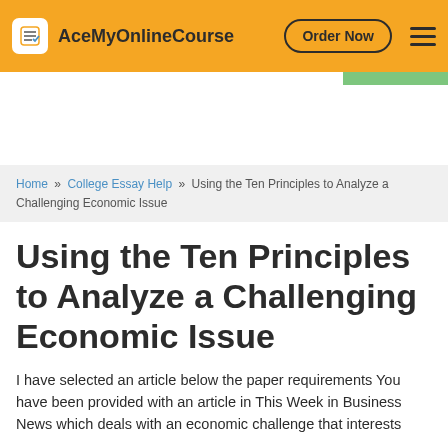AceMyOnlineCourse | Order Now
Home » College Essay Help » Using the Ten Principles to Analyze a Challenging Economic Issue
Using the Ten Principles to Analyze a Challenging Economic Issue
I have selected an article below the paper requirements You have been provided with an article in This Week in Business News which deals with an economic challenge that interests